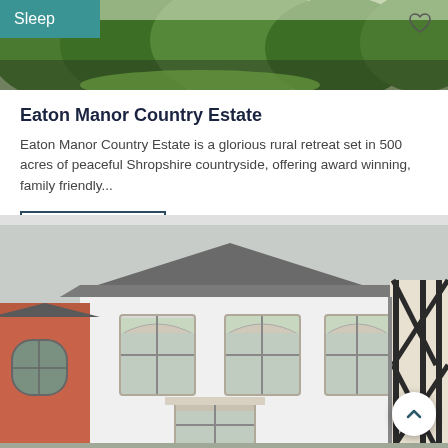[Figure (photo): Green garden/hedge background image at top of first card with Sleep badge overlay]
Eaton Manor Country Estate
Eaton Manor Country Estate is a glorious rural retreat set in 500 acres of peaceful Shropshire countryside, offering award winning, family friendly...
[Figure (photo): Exterior photo of a white Georgian-style country house with grey slate roof, sash windows, and partial view of a black-and-white timber-framed building on the right]